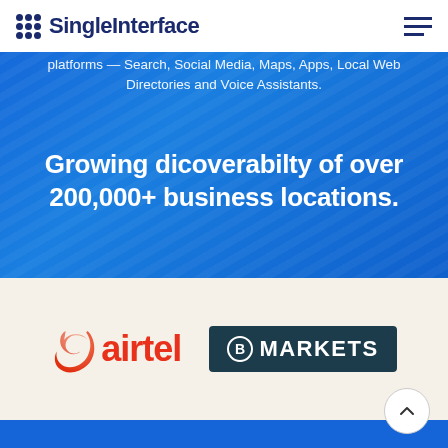SingleInterface
platforms — Search, Social Media, Maps, Apps, Local Web Directories and Voice Assistants.
Growing dicoverabilty of over 200,000+ business locations.
[Figure (logo): Airtel logo — red swoosh icon and red 'airtel' wordmark]
[Figure (logo): B Markets logo — dark teal rectangle with circled B icon and 'MARKETS' text in white]